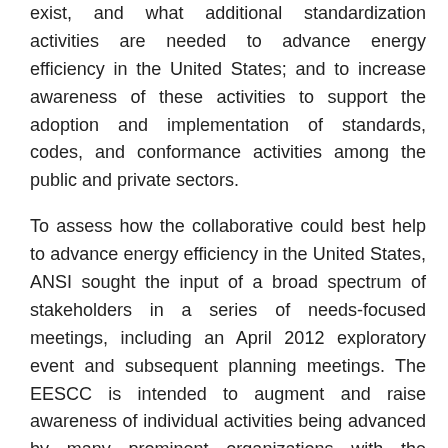exist, and what additional standardization activities are needed to advance energy efficiency in the United States; and to increase awareness of these activities to support the adoption and implementation of standards, codes, and conformance activities among the public and private sectors.
To assess how the collaborative could best help to advance energy efficiency in the United States, ANSI sought the input of a broad spectrum of stakeholders in a series of needs-focused meetings, including an April 2012 exploratory event and subsequent planning meetings. The EESCC is intended to augment and raise awareness of individual activities being advanced by many prominent organizations with the objective of moving energy efficiency forward, and is not intended to displace or duplicate work that is currently being done. The EESCC will not develop standards, nor will it assign responsibility for their development. A multi-phased effort, Phase One of the roadmap will focus on five identified areas of need, with each to be addressed by a